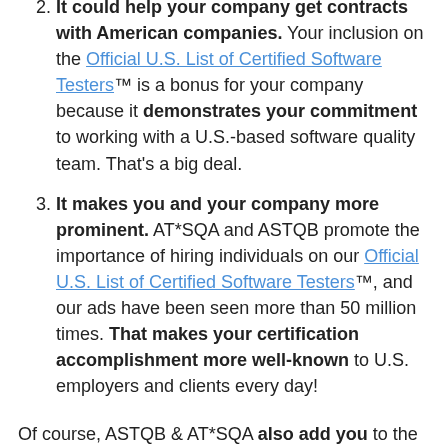It could help your company get contracts with American companies. Your inclusion on the Official U.S. List of Certified Software Testers™ is a bonus for your company because it demonstrates your commitment to working with a U.S.-based software quality team. That's a big deal.
It makes you and your company more prominent. AT*SQA and ASTQB promote the importance of hiring individuals on our Official U.S. List of Certified Software Testers™, and our ads have been seen more than 50 million times. That makes your certification accomplishment more well-known to U.S. employers and clients every day!
Of course, ASTQB & AT*SQA also add you to the ISTQB Successful Candidate Register! Register for your ISTQB exam through ASTQB or our official ISTQB exam...